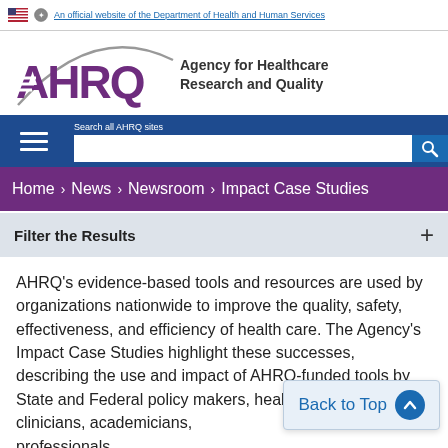An official website of the Department of Health and Human Services
[Figure (logo): AHRQ logo with arc design and text 'Agency for Healthcare Research and Quality']
Search all AHRQ sites
Home > News > Newsroom > Impact Case Studies
Filter the Results +
AHRQ’s evidence-based tools and resources are used by organizations nationwide to improve the quality, safety, effectiveness, and efficiency of health care. The Agency’s Impact Case Studies highlight these successes, describing the use and impact of AHRQ-funded tools by State and Federal policy makers, health systems, clinicians, academicians, and other professionals.